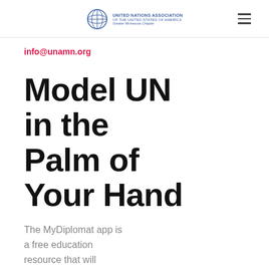United Nations Association — logo and navigation
info@unamn.org
Model UN in the Palm of Your Hand
The MyDiplomat app is a free education resource that will connect users with